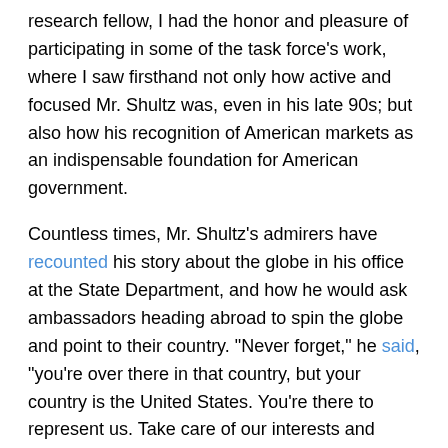research fellow, I had the honor and pleasure of participating in some of the task force's work, where I saw firsthand not only how active and focused Mr. Shultz was, even in his late 90s; but also how his recognition of American markets as an indispensable foundation for American government.
Countless times, Mr. Shultz's admirers have recounted his story about the globe in his office at the State Department, and how he would ask ambassadors heading abroad to spin the globe and point to their country. "Never forget," he said, "you're over there in that country, but your country is the United States. You're there to represent us. Take care of our interests and never forget it, and you're representing the best country in the world."